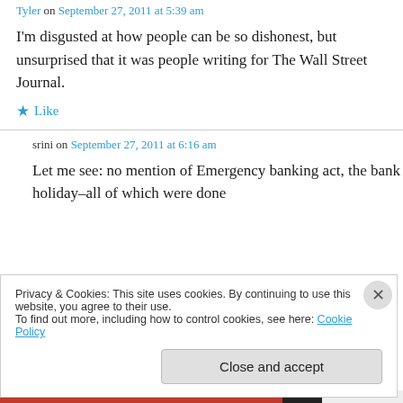Tyler on September 27, 2011 at 5:39 am
I'm disgusted at how people can be so dishonest, but unsurprised that it was people writing for The Wall Street Journal.
★ Like
srini on September 27, 2011 at 6:16 am
Let me see: no mention of Emergency banking act, the bank holiday–all of which were done
Privacy & Cookies: This site uses cookies. By continuing to use this website, you agree to their use.
To find out more, including how to control cookies, see here: Cookie Policy
Close and accept